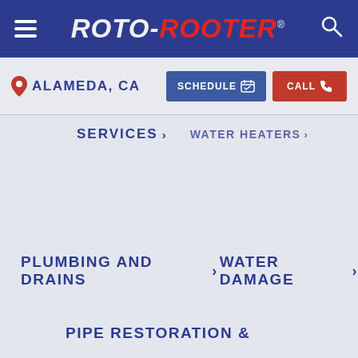[Figure (logo): Roto-Rooter logo with hamburger menu and search icon on dark blue header bar]
ALAMEDA, CA
SCHEDULE
CALL
SERVICES >
WATER HEATERS >
PLUMBING AND DRAINS > WATER DAMAGE >
PIPE RESTORATION &